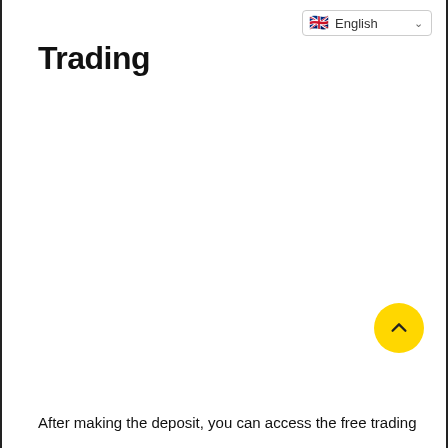[Figure (screenshot): Language selector dropdown showing UK flag and 'English' text with a chevron/dropdown arrow]
Trading
[Figure (other): Yellow circular scroll-to-top button with an upward chevron arrow]
After making the deposit, you can access the free trading